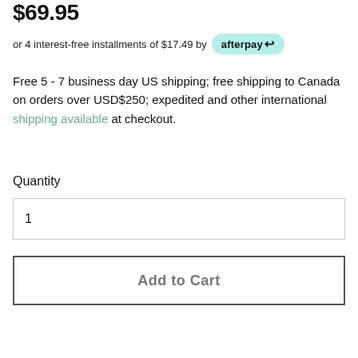$69.95
or 4 interest-free installments of $17.49 by afterpay
Free 5 - 7 business day US shipping; free shipping to Canada on orders over USD$250; expedited and other international shipping available at checkout.
Quantity
1
Add to Cart